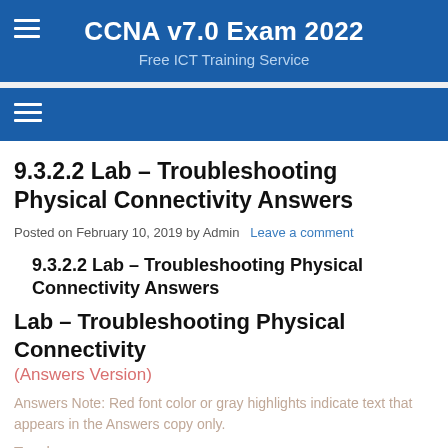CCNA v7.0 Exam 2022
Free ICT Training Service
9.3.2.2 Lab – Troubleshooting Physical Connectivity Answers
Posted on February 10, 2019 by Admin   Leave a comment
9.3.2.2 Lab – Troubleshooting Physical Connectivity Answers
Lab – Troubleshooting Physical Connectivity
(Answers Version)
Answers Note: Red font color or gray highlights indicate text that appears in the Answers copy only.
Topology